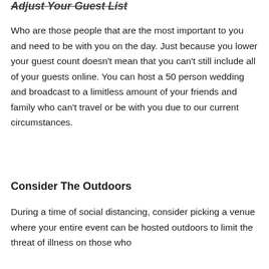Adjust Your Guest List
Who are those people that are the most important to you and need to be with you on the day. Just because you lower your guest count doesn't mean that you can't still include all of your guests online. You can host a 50 person wedding and broadcast to a limitless amount of your friends and family who can't travel or be with you due to our current circumstances.
Consider The Outdoors
During a time of social distancing, consider picking a venue where your entire event can be hosted outdoors to limit the threat of illness on those who are present. To help some of those who